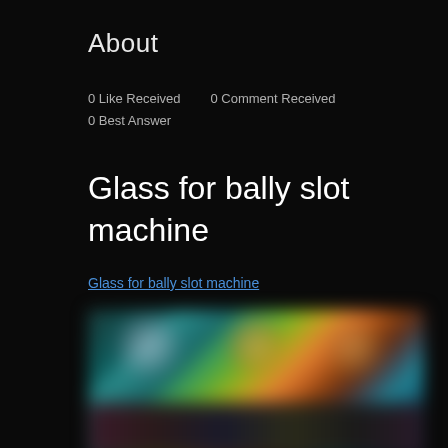About
0 Like Received    0 Comment Received
0 Best Answer
Glass for bally slot machine
Glass for bally slot machine
[Figure (photo): Blurred screenshot showing colorful animated characters or game content on a dark background]